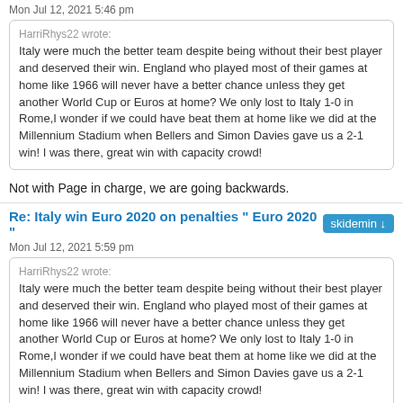Mon Jul 12, 2021 5:46 pm
HarriRhys22 wrote:
Italy were much the better team despite being without their best player and deserved their win. England who played most of their games at home like 1966 will never have a better chance unless they get another World Cup or Euros at home? We only lost to Italy 1-0 in Rome,I wonder if we could have beat them at home like we did at the Millennium Stadium when Bellers and Simon Davies gave us a 2-1 win! I was there, great win with capacity crowd!
Not with Page in charge, we are going backwards.
Re: Italy win Euro 2020 on penalties " Euro 2020 "
Mon Jul 12, 2021 5:59 pm
HarriRhys22 wrote:
Italy were much the better team despite being without their best player and deserved their win. England who played most of their games at home like 1966 will never have a better chance unless they get another World Cup or Euros at home? We only lost to Italy 1-0 in Rome,I wonder if we could have beat them at home like we did at the Millennium Stadium when Bellers and Simon Davies gave us a 2-1 win! I was there, great win with capacity crowd!
we seem to have lots of potential
but i think we need some of our players to become fixtures in their club 11s